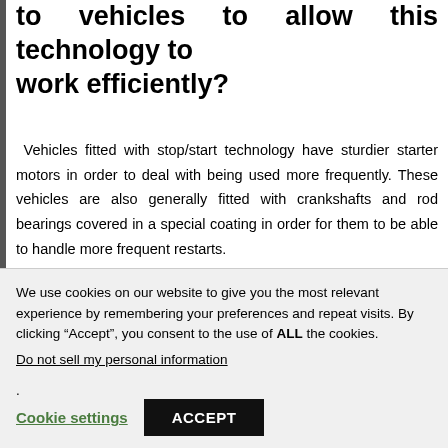to vehicles to allow this technology to work efficiently?
Vehicles fitted with stop/start technology have sturdier starter motors in order to deal with being used more frequently. These vehicles are also generally fitted with crankshafts and rod bearings covered in a special coating in order for them to be able to handle more frequent restarts.
Electric pumps are needed to circulate coolant and keep a consistent level of hydraulic pressure in the transmission as the engine will be off. This will help to cool the engine despite it being off at the time.
We use cookies on our website to give you the most relevant experience by remembering your preferences and repeat visits. By clicking “Accept”, you consent to the use of ALL the cookies.
Do not sell my personal information.
Cookie settings
ACCEPT